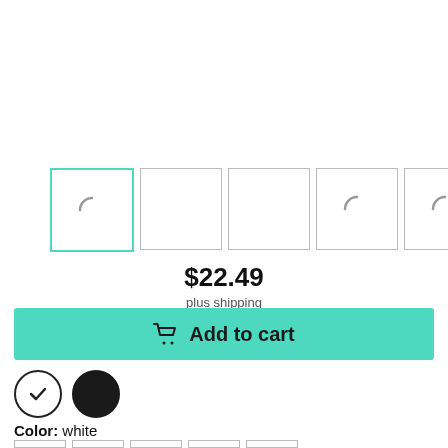[Figure (screenshot): Five product thumbnail image slots in a row; first is selected with a teal/cyan border, the other four have gray borders. Three thumbnails show a loading spinner arc icon.]
$22.49
plus shipping
Add to cart
[Figure (other): Two color swatches: first is white with a checkmark (selected), second is solid black.]
Color: white